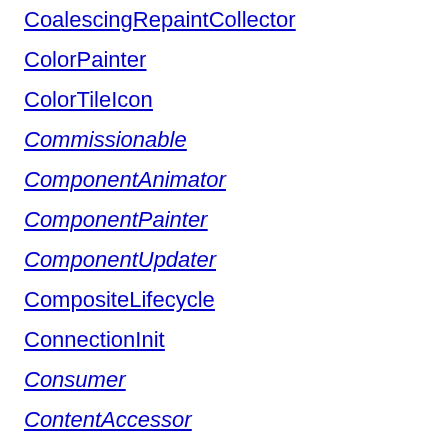CoalescingRepaintCollector
ColorPainter
ColorTileIcon
Commissionable
ComponentAnimator
ComponentPainter
ComponentUpdater
CompositeLifecycle
ConnectionInit
Consumer
ContentAccessor
Controller
Counter
Courier
CroftSoftConstants
CursorAnimator
CursorLib
CustomClassLoader
DateFormatLib
DefaultAnimationFactory
DeltaClock
DeltaClockImp
Destroyable
DialogClassLoader
DigestLib
DisplayModeLib
DoubleListDialog
DoubleListDialogListener
Downloader